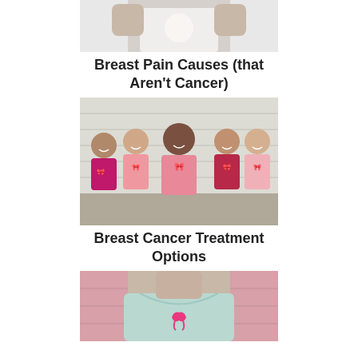[Figure (photo): Cropped torso of a person in a white top holding a pink ribbon or heart shape against their chest]
Breast Pain Causes (that Aren't Cancer)
[Figure (photo): Five diverse women sitting together smiling, wearing pink tops with breast cancer awareness ribbons, against a white brick wall]
Breast Cancer Treatment Options
[Figure (photo): Cropped torso of a woman in a light blue/mint top with a pink breast cancer ribbon, pink brick wall background]